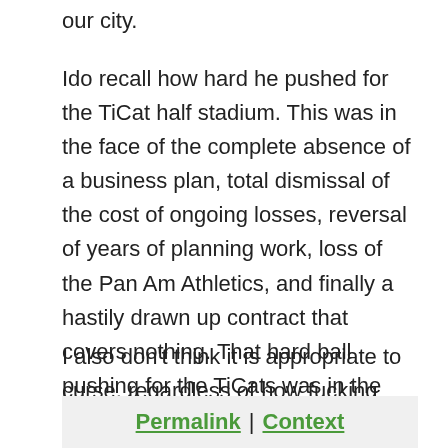our city.
Ido recall how hard he pushed for the TiCat half stadium. This was in the face of the complete absence of a business plan, total dismissal of the cost of ongoing losses, reversal of years of planning work, loss of the Pan Am Athletics, and finally a hastily drawn up contract that covers nothing. That hard ball pushing for the TiCats was in the name of the city, now Iam less sure.
I also don't think it is appropriate to curse, regardless of how fucking angry you are. ;)
:)hUe
Permalink | Context